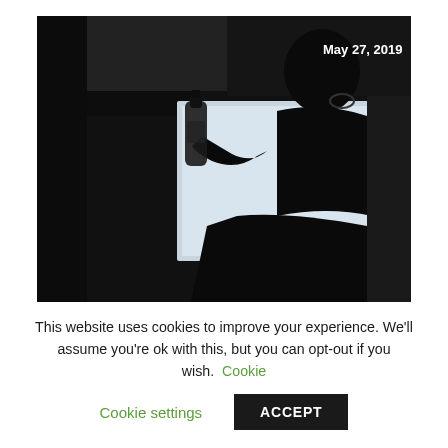[Figure (photo): Dark photograph of a person's silhouette holding a liquor bottle against a bright computer monitor or lightbox background. The scene is very dark with the person and bottle appearing as dark silhouettes. Date stamp 'May 27, 2019' appears in white bold text in the upper right corner of the image.]
This website uses cookies to improve your experience. We'll assume you're ok with this, but you can opt-out if you wish. Cookie settings ACCEPT